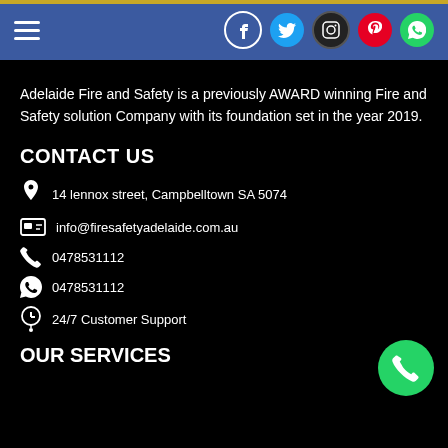[Figure (screenshot): Navigation bar with hamburger menu icon and social media icons (Facebook, Twitter, Instagram, Pinterest, WhatsApp) on blue background]
Adelaide Fire and Safety is a previously AWARD winning Fire and Safety solution Company with its foundation set in the year 2019.
CONTACT US
14 lennox street, Campbelltown SA 5074
info@firesafetyadelaide.com.au
0478531112
0478531112
24/7 Customer Support
OUR SERVICES